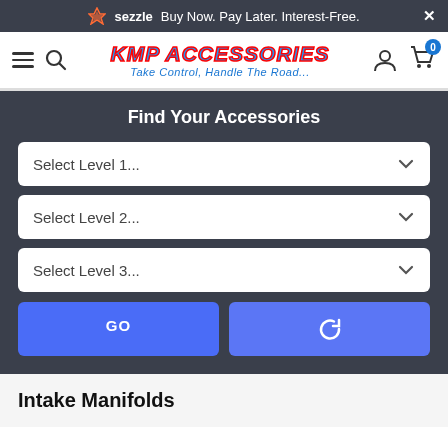sezzle — Buy Now. Pay Later. Interest-Free.
[Figure (logo): KMP Accessories logo with text 'Take Control, Handle The Road...']
Find Your Accessories
Select Level 1...
Select Level 2...
Select Level 3...
GO
↻
Intake Manifolds